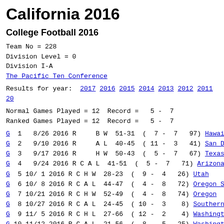California 2016
College Football 2016
Team No = 228
Division Level = 0
Division I-A
The Pacific Ten Conference
Results for year: 2017 2016 2015 2014 2013 2012 2011 20...
Normal Games Played = 12  Record = 5 - 7
Ranked Games Played = 12  Record = 5 - 7
| G | # | Date | Year | R | C | H/A | W/L | Score | Record | Rank | Opponent |
| --- | --- | --- | --- | --- | --- | --- | --- | --- | --- | --- | --- |
| G | 1 | 8/26 | 2016 | R |  | B | W | 51-31 | 7 - 7 | 97 | Hawaii |
| G | 2 | 9/10 | 2016 | R |  | A | L | 40-45 | 11 - 3 | 41 | San Diego |
| G | 3 | 9/17 | 2016 | R |  | H | W | 50-43 | 5 - 7 | 67 | Texas |
| G | 4 | 9/24 | 2016 | R | C | A | L | 41-51 | 5 - 7 | 71 | Arizona |
| G | 5 | 10/1 | 2016 | R | C | H | W | 28-23 | 9 - 4 | 26 | Utah |
| G | 6 | 10/8 | 2016 | R | C | A | L | 44-47 | 4 - 8 | 72 | Oregon S |
| G | 7 | 10/21 | 2016 | R | C | H | W | 52-49 | 4 - 8 | 74 | Oregon |
| G | 8 | 10/27 | 2016 | R | C | A | L | 24-45 | 10 - 3 | 8 | Southern |
| G | 9 | 11/5 | 2016 | R | C | H | L | 27-66 | 12 - 2 | 4 | Washington |
| G | 10 | 11/12 | 2016 | R | C | A | L | 21-56 | 8 - 5 | 25 | Washington |
| G | 11 | 11/19 | 2016 | R | C | H | L | 31-45 | 10 - 3 | 13 | Stanford |
| G | 12 | 11/26 | 2016 | R | C | H | W | 36-10 | 4 - 8 | 70 | UCLA |